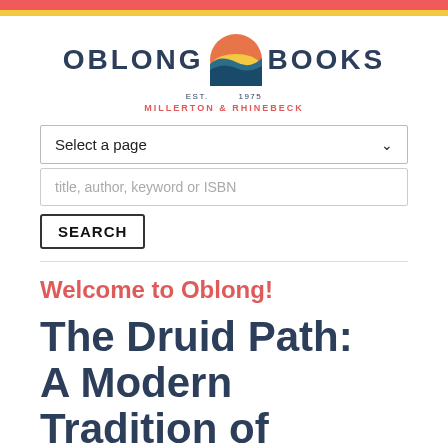[Figure (logo): Oblong Books logo with circular mountain/sunset icon, text 'OBLONG BOOKS EST. 1975 MILLERTON & RHINEBECK']
Select a page
title, author, keyword or ISBN
SEARCH
Welcome to Oblong!
The Druid Path: A Modern Tradition of